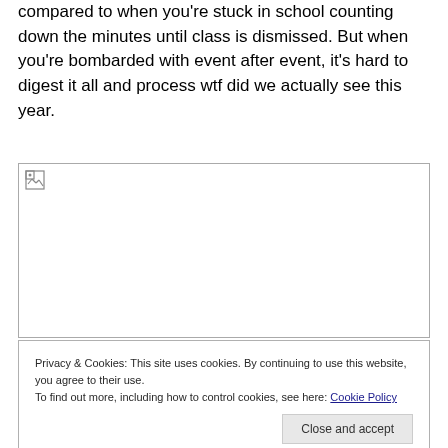compared to when you're stuck in school counting down the minutes until class is dismissed. But when you're bombarded with event after event, it's hard to digest it all and process wtf did we actually see this year.
[Figure (other): Broken image placeholder with small image icon in top-left corner]
Privacy & Cookies: This site uses cookies. By continuing to use this website, you agree to their use.
To find out more, including how to control cookies, see here: Cookie Policy